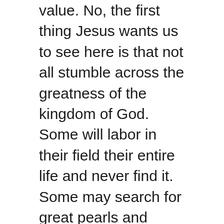value. No, the first thing Jesus wants us to see here is that not all stumble across the greatness of the kingdom of God. Some will labor in their field their entire life and never find it. Some may search for great pearls and never come across it. Not all find the treasure of the kingdom of God.
In fact, you see this in the very first verse. Look down at verse 44 again. Notice Jesus says the kingdom of heaven is like treasure. But what kind of treasure? Look what He says: Hidden treasure. Hidden in a field. Not everybody finds a Picasso at a